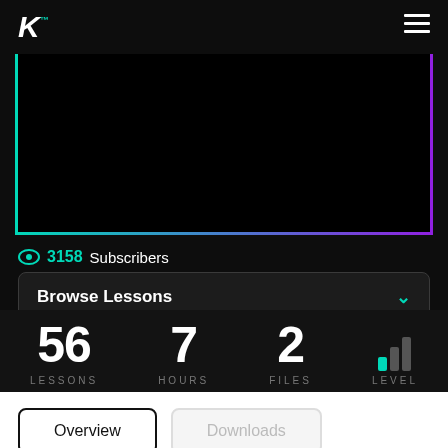[Figure (screenshot): Dark themed educational platform UI showing logo K in top left, hamburger menu top right, black video thumbnail area with teal left border and purple bottom/right border]
3158 Subscribers
Browse Lessons
56 LESSONS
7 HOURS
2 FILES
LEVEL
Overview
Downloads